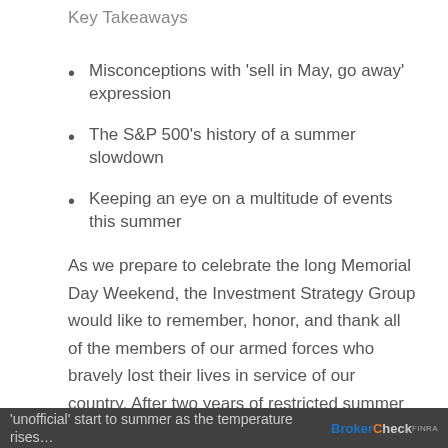Key Takeaways
Misconceptions with ‘sell in May, go away’ expression
The S&P 500’s history of a summer slowdown
Keeping an eye on a multitude of events this summer
As we prepare to celebrate the long Memorial Day Weekend, the Investment Strategy Group would like to remember, honor, and thank all of the members of our armed forces who bravely lost their lives in service of our country. After two years of restricted summer activity due to the pandemic, we hope everyone is able to spend quality time with loved ones and we wish you and your family a healthy and restful holiday! Memorial Day serves as the
‘unofficial’ start to summer as the temperature rises…  BrokerCheck FINRA